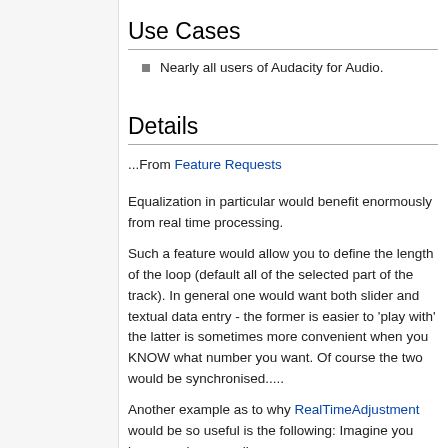Use Cases
Nearly all users of Audacity for Audio.
Details
...From Feature Requests
Equalization in particular would benefit enormously from real time processing.
Such a feature would allow you to define the length of the loop (default all of the selected part of the track). In general one would want both slider and textual data entry - the former is easier to 'play with' the latter is sometimes more convenient when you KNOW what number you want. Of course the two would be synchronised.....
Another example as to why RealTimeAdjustment would be so useful is the following: Imagine you have a voice recording...